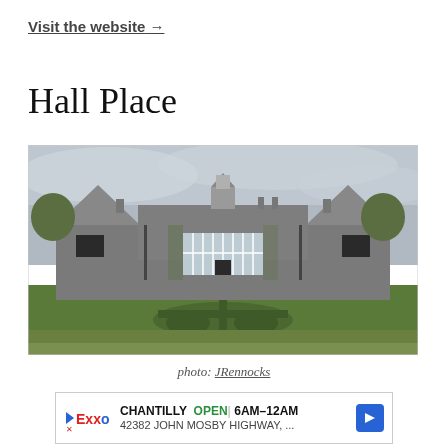Visit the website →
Hall Place
[Figure (photo): Photograph of Hall Place, a historic stone manor house with gabled rooflines and a cupola, seen from the formal garden featuring neatly trimmed hedges in a circular-cross pattern on a green lawn. Overcast grey sky.]
photo: JRennocks
CHANTILLY  OPEN  6AM–12AM  42382 JOHN MOSBY HIGHWAY, ...